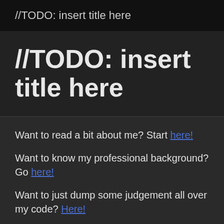//TODO: insert title here
//TODO: insert title here
Want to read a bit about me? Start here!
Want to know my professional background? Go here!
Want to just dump some judgement all over my code? Here!
Want to read my mind? Click around on the...